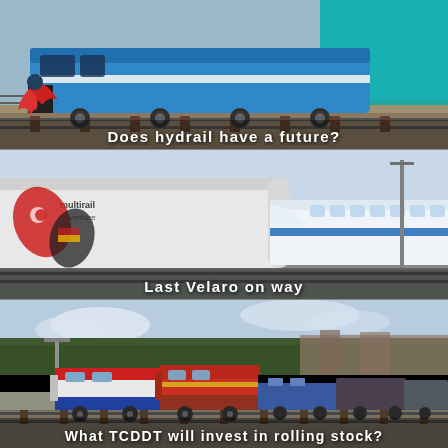[Figure (photo): Blue diesel locomotive at a station or depot, with ceremonial red cloth decoration on the front coupling. Industrial building with teal/green facade in background.]
Does hydrail have a future?
[Figure (photo): Side view of a white passenger railcar with 'multirail adventure' branding and a butterfly logo featuring Turkish and German flag colors (red/white crescent and black/red/gold). A modern white high-speed train (Velaro) is visible behind it at a station.]
Last Velaro on way
[Figure (photo): Multiple freight locomotives lined up at a station or yard, including colorful diesel locomotives in red/white/blue livery, with trees and buildings in the background under a partly cloudy sky.]
What TCDDT will invest in rolling stock?